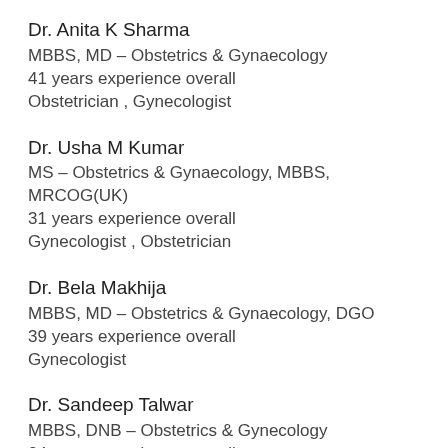Dr. Anita K Sharma
MBBS, MD – Obstetrics & Gynaecology
41 years experience overall
Obstetrician , Gynecologist
Dr. Usha M Kumar
MS – Obstetrics & Gynaecology, MBBS, MRCOG(UK)
31 years experience overall
Gynecologist , Obstetrician
Dr. Bela Makhija
MBBS, MD – Obstetrics & Gynaecology, DGO
39 years experience overall
Gynecologist
Dr. Sandeep Talwar
MBBS, DNB – Obstetrics & Gynecology
24 years experience overall